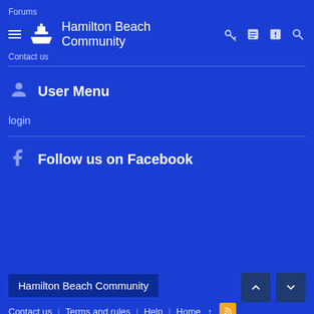Forums | Hamilton Beach Community | Contact us
User Menu
login
Follow us on Facebook
Hamilton Beach Community | Contact us | Terms and rules | Help | Home
Forum software by XenForo™ © 2010-2018 XenForo Ltd. | Style by ThemeHouse